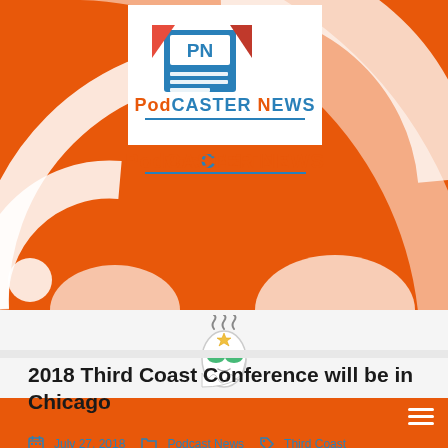[Figure (logo): Podcaster News logo with RSS feed background banner in orange, showing white PN newspaper icon and blue/red Podcaster News text]
[Figure (illustration): Small cartoon character with steam lines above head and green sunglasses, on a light gray strip]
2018 Third Coast Conference will be in Chicago
July 27, 2018  Podcast News  Third Coast